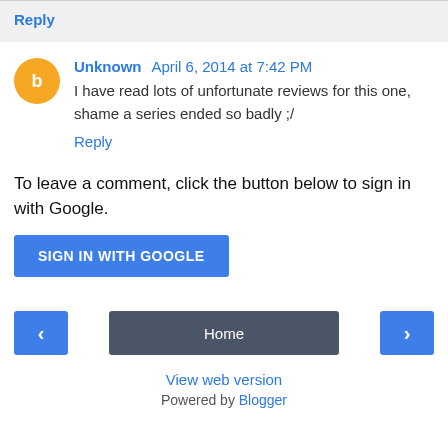Reply
Unknown April 6, 2014 at 7:42 PM
I have read lots of unfortunate reviews for this one, shame a series ended so badly ;/
Reply
To leave a comment, click the button below to sign in with Google.
SIGN IN WITH GOOGLE
Home
View web version
Powered by Blogger